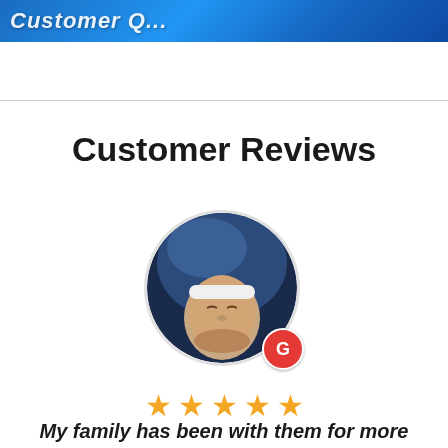Customer Q...
Customer Reviews
[Figure (photo): Circular avatar photo of a person wearing a white headband, with a Google review badge (red circle with G) overlaid at bottom right]
★★★★★ (5 stars)
My family has been with them for more